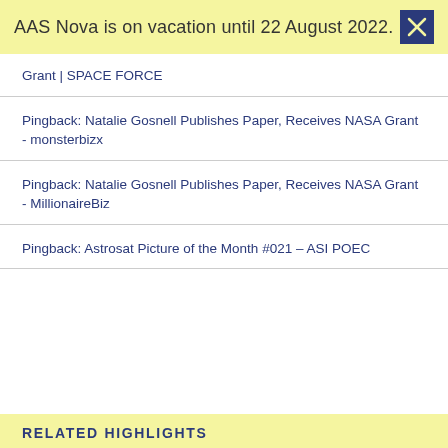AAS Nova is on vacation until 22 August 2022.
Grant | SPACE FORCE
Pingback: Natalie Gosnell Publishes Paper, Receives NASA Grant - monsterbizx
Pingback: Natalie Gosnell Publishes Paper, Receives NASA Grant - MillionaireBiz
Pingback: Astrosat Picture of the Month #021 – ASI POEC
RELATED HIGHLIGHTS